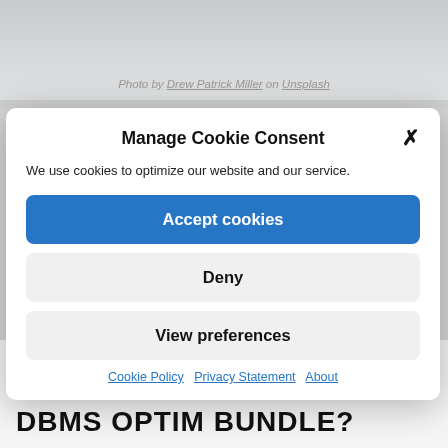[Figure (photo): Faded/overexposed photo visible at top of page, partially obscured by modal overlay]
Photo by Drew Patrick Miller on Unsplash
Manage Cookie Consent
We use cookies to optimize our website and our service.
Accept cookies
Deny
View preferences
Cookie Policy  Privacy Statement  About
Close and accept
DBMS OPTIM BUNDLE?